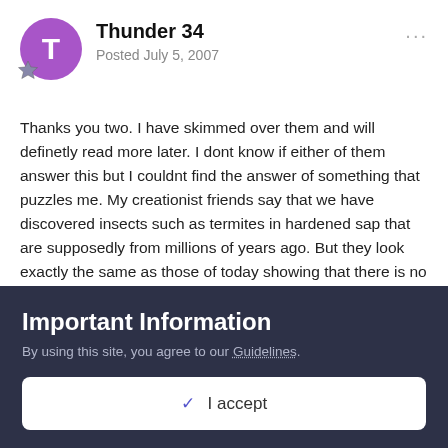Thunder 34 — Posted July 5, 2007
Thanks you two. I have skimmed over them and will definetly read more later. I dont know if either of them answer this but I couldnt find the answer of something that puzzles me. My creationist friends say that we have discovered insects such as termites in hardened sap that are supposedly from millions of years ago. But they look exactly the same as those of today showing that there is no evolution. This true?
Ouroboros
Important Information
By using this site, you agree to our Guidelines.
✓ I accept